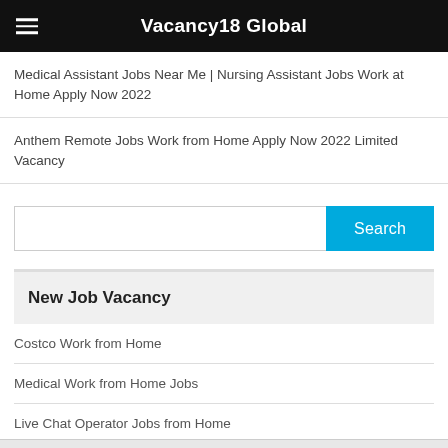Vacancy18 Global
Medical Assistant Jobs Near Me | Nursing Assistant Jobs Work at Home Apply Now 2022
Anthem Remote Jobs Work from Home Apply Now 2022 Limited Vacancy
New Job Vacancy
Costco Work from Home
Medical Work from Home Jobs
Live Chat Operator Jobs from Home